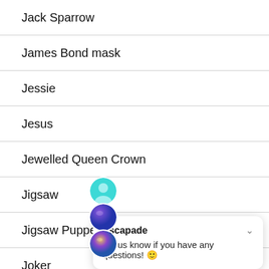Jack Sparrow
James Bond mask
Jessie
Jesus
Jewelled Queen Crown
Jigsaw
Jigsaw Puppet
Joker
Jubilee
Escapade
Let us know if you have any questions! 😊